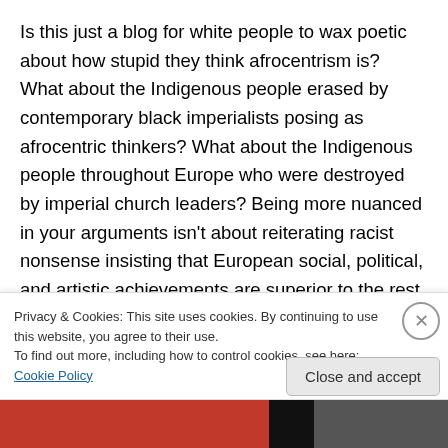Is this just a blog for white people to wax poetic about how stupid they think afrocentrism is? What about the Indigenous people erased by contemporary black imperialists posing as afrocentric thinkers? What about the Indigenous people throughout Europe who were destroyed by imperial church leaders? Being more nuanced in your arguments isn't about reiterating racist nonsense insisting that European social, political, and artistic achievements are superior to the rest of the world's. You sound like a group...
Privacy & Cookies: This site uses cookies. By continuing to use this website, you agree to their use.
To find out more, including how to control cookies, see here: Cookie Policy
Close and accept